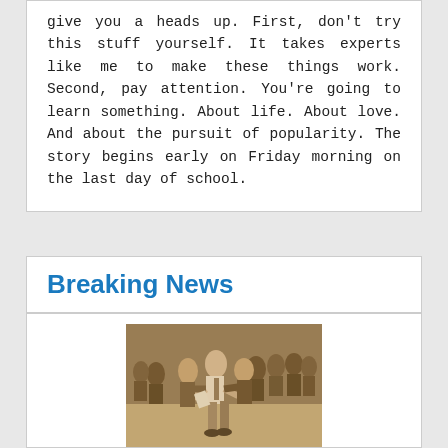give you a heads up. First, don't try this stuff yourself. It takes experts like me to make these things work. Second, pay attention. You're going to learn something. About life. About love. And about the pursuit of popularity. The story begins early on Friday morning on the last day of school.
Breaking News
[Figure (photo): A sepia-toned vintage photograph showing a man in a white shirt and tie being escorted or carried by a group of men in suits in what appears to be an indoor setting.]